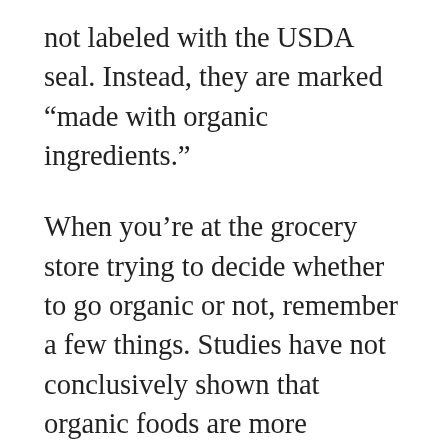not labeled with the USDA seal. Instead, they are marked “made with organic ingredients.”
When you’re at the grocery store trying to decide whether to go organic or not, remember a few things. Studies have not conclusively shown that organic foods are more nutritious than other types of foods.
The USDA certifies organic food products but does not say that they are safer or more nutritious. Also, organic foods may look different from their non-organic counterparts. That’s because no wax or preservatives have been used to improve